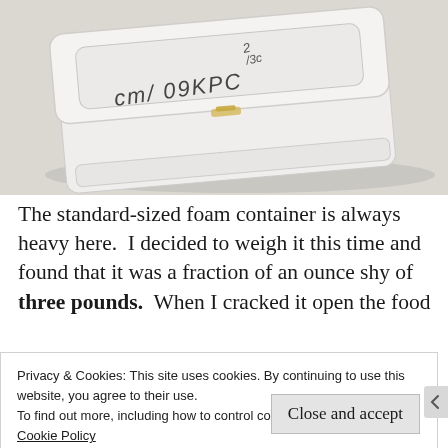[Figure (photo): A white foam/styrofoam takeout container on a light surface. Handwritten text on the lid reads 'cm/ 09 KPC' and '2/30' or similar notation.]
The standard-sized foam container is always heavy here.  I decided to weigh it this time and found that it was a fraction of an ounce shy of three pounds.  When I cracked it open the food
Privacy & Cookies: This site uses cookies. By continuing to use this website, you agree to their use.
To find out more, including how to control cookies, see here:
Cookie Policy
Close and accept